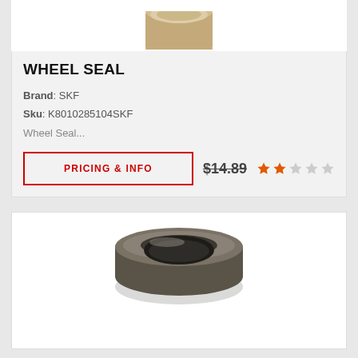[Figure (photo): Top portion of a brass/gold colored wheel seal component, showing the rounded top edge against white background]
WHEEL SEAL
Brand: SKF
Sku: K8010285104SKF
Wheel Seal...
PRICING & INFO   $14.89   ★★☆☆☆
[Figure (photo): A dark metallic wheel seal ring/gasket, circular in shape with a chamfered inner edge, shown from a slightly angled top view against white background]